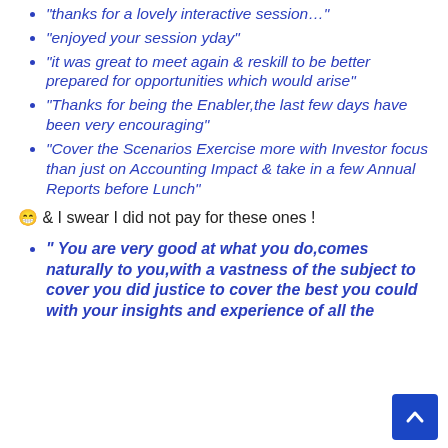“thanks for a lovely interactive session…”
“enjoyed your session yday”
“it was great to meet again & reskill to be better prepared for opportunities which would arise”
“Thanks for being the Enabler,the last few days have been very encouraging”
“Cover the Scenarios Exercise more with Investor focus than just on Accounting Impact & take in a few Annual Reports before Lunch”
😁 & I swear I did not pay for these ones !
“ You are very good at what you do,comes naturally to you,with a vastness of the subject to cover you did justice to cover the best you could with your insights and experience of all the